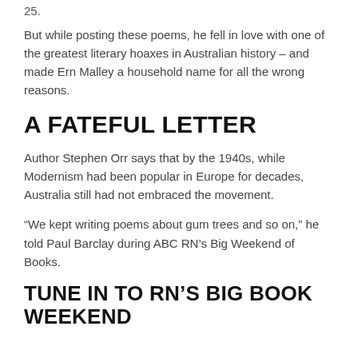25.
But while posting these poems, he fell in love with one of the greatest literary hoaxes in Australian history – and made Ern Malley a household name for all the wrong reasons.
A FATEFUL LETTER
Author Stephen Orr says that by the 1940s, while Modernism had been popular in Europe for decades, Australia still had not embraced the movement.
“We kept writing poems about gum trees and so on,” he told Paul Barclay during ABC RN’s Big Weekend of Books.
TUNE IN TO RN’S BIG BOOK WEEKEND